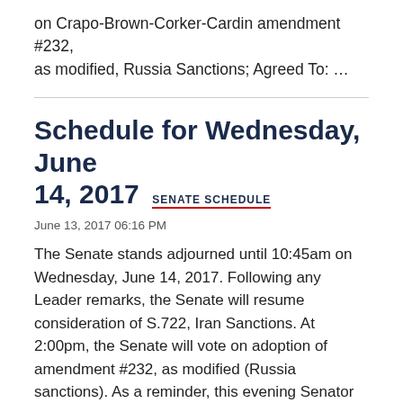on Crapo-Brown-Corker-Cardin amendment #232, as modified, Russia Sanctions; Agreed To: …
Schedule for Wednesday, June 14, 2017  SENATE SCHEDULE
June 13, 2017 06:16 PM
The Senate stands adjourned until 10:45am on Wednesday, June 14, 2017. Following any Leader remarks, the Senate will resume consideration of S.722, Iran Sanctions. At 2:00pm, the Senate will vote on adoption of amendment #232, as modified (Russia sanctions). As a reminder, this evening Senator McConnell filed cloture on the committee-reported substitute amendment and on the underlying bill, S.722. Unless senators are continuing…